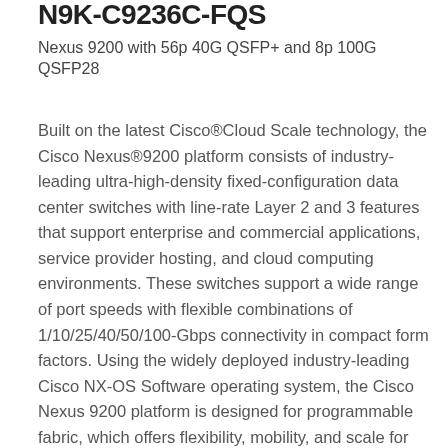N9K-C9236C-FQS
Nexus 9200 with 56p 40G QSFP+ and 8p 100G QSFP28
Built on the latest Cisco®Cloud Scale technology, the Cisco Nexus®9200 platform consists of industry-leading ultra-high-density fixed-configuration data center switches with line-rate Layer 2 and 3 features that support enterprise and commercial applications, service provider hosting, and cloud computing environments. These switches support a wide range of port speeds with flexible combinations of 1/10/25/40/50/100-Gbps connectivity in compact form factors. Using the widely deployed industry-leading Cisco NX-OS Software operating system, the Cisco Nexus 9200 platform is designed for programmable fabric, which offers flexibility, mobility, and scale for